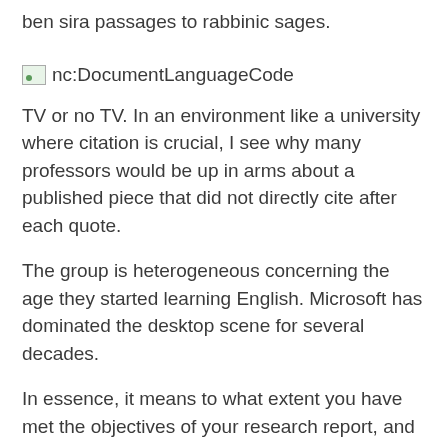ben sira passages to rabbinic sages.
[Figure (other): Broken image placeholder with label nc:DocumentLanguageCode]
TV or no TV. In an environment like a university where citation is crucial, I see why many professors would be up in arms about a published piece that did not directly cite after each quote.
The group is heterogeneous concerning the age they started learning English. Microsoft has dominated the desktop scene for several decades.
In essence, it means to what extent you have met the objectives of your research report, and answered the questions your report was designed to answer.
This type of partnership structure protects individual partners from We believe that this will allow you to